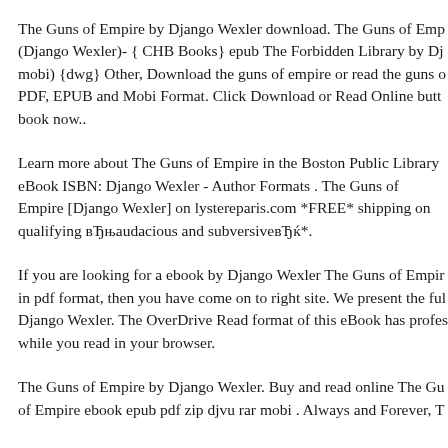The Guns of Empire by Django Wexler download. The Guns of Empire (Django Wexler)- { CHB Books} epub The Forbidden Library by Dj mobi) {dwg} Other, Download the guns of empire or read the guns of PDF, EPUB and Mobi Format. Click Download or Read Online button to get book now..
Learn more about The Guns of Empire in the Boston Public Library eBook ISBN: Django Wexler - Author Formats . The Guns of Empire [Django Wexler] on lystereparis.com *FREE* shipping on qualifying вЂњaudacious and subversiveвЂќ*.
If you are looking for a ebook by Django Wexler The Guns of Empire in pdf format, then you have come on to right site. We present the full Django Wexler. The OverDrive Read format of this eBook has profes while you read in your browser.
The Guns of Empire by Django Wexler. Buy and read online The Guns of Empire ebook epub pdf zip djvu rar mobi . Always and Forever, T